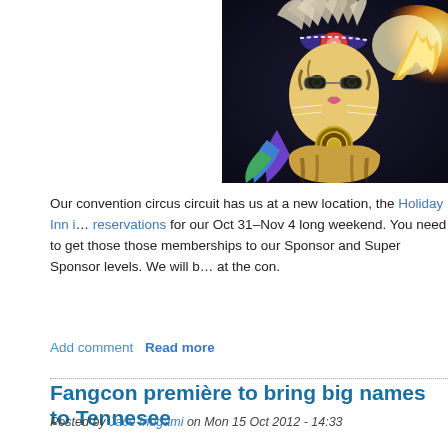[Figure (illustration): Fantasy illustration of a tiger wearing Native American headdress with feathers, jewelry, and colorful decorations, breathing fire against a dark background. The tiger is adorned with a large feathered headdress and decorative medallions.]
Our convention circus circuit has us at a new location, the Holiday Inn i… reservations for our Oct 31–Nov 4 long weekend. You need to get those those memberships to our Sponsor and Super Sponsor levels. We will b… at the con.
Add comment  Read more
Fangcon première to bring big names to Tennesee
Posted by Jace Inugami on Mon 15 Oct 2012 - 14:33
One of the newest furry conventions, Fangcon, opens its doors Oct. 26t… Tenn., the event's theme is: Musicals: Opening Night! This will really co… con's Musical Guest of Honor. This bear has brought a few musicals to t… Nights to a standing ovation crowd performing Fosgate: Ferret Loan Of… of several instruments to his own show and several panels. He's not to…